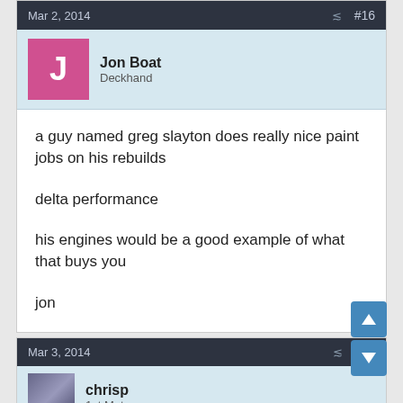Mar 2, 2014  #16
Jon Boat
Deckhand
a guy named greg slayton does really nice paint jobs on his rebuilds

delta performance

his engines would be a good example of what that buys you


jon
Mar 3, 2014  #17
chrisp
1st Mate